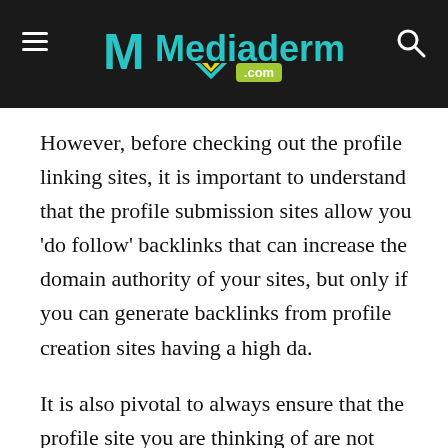[Figure (logo): Mediaderm.com website header with dark background, hamburger menu on left, search icon on right, teal Mediaderm logo in center with green .com badge]
However, before checking out the profile linking sites, it is important to understand that the profile submission sites allow you ‘do follow’ backlinks that can increase the domain authority of your sites, but only if you can generate backlinks from profile creation sites having a high da.
It is also pivotal to always ensure that the profile site you are thinking of are not spammed and have high domain authority. To save some of your time and effort, we have assembled below a list of ‘do follow’ profile creation sites for you, which will be